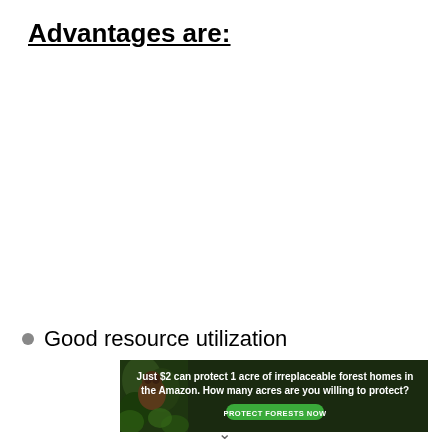Advantages are:
Good resource utilization
[Figure (photo): Amazon rainforest advertisement banner showing a primate/sloth in lush green forest setting with text: 'Just $2 can protect 1 acre of irreplaceable forest homes in the Amazon. How many acres are you willing to protect?' and a green button reading 'PROTECT FORESTS NOW']